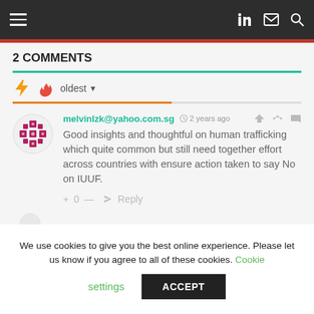Navigation bar with hamburger menu and icons
2 COMMENTS
oldest
melvinlzk@yahoo.com.sg · 2 years ago
Good insights and thoughtful on human trafficking which quite common but still need together effort across countries with ensure action taken to say No on IUUF.
+ 0 — Reply
We use cookies to give you the best online experience. Please let us know if you agree to all of these cookies. Cookie settings ACCEPT